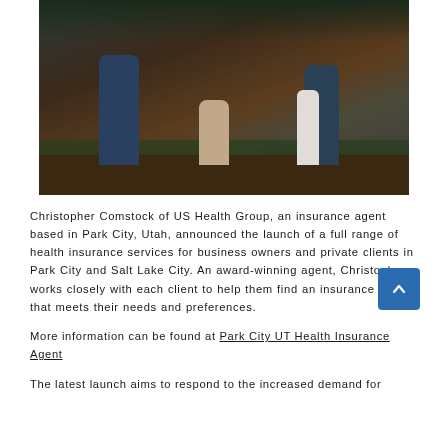[Figure (photo): A family of four walking together on a path outdoors. Two adults hold the hands of a toddler in the middle, and a young girl walks beside them. The scene is in a park-like setting with warm earthy tones.]
Christopher Comstock of US Health Group, an insurance agent based in Park City, Utah, announced the launch of a full range of health insurance services for business owners and private clients in Park City and Salt Lake City. An award-winning agent, Christopher works closely with each client to help them find an insurance plan that meets their needs and preferences.
More information can be found at Park City UT Health Insurance Agent
The latest launch aims to respond to the increased demand for